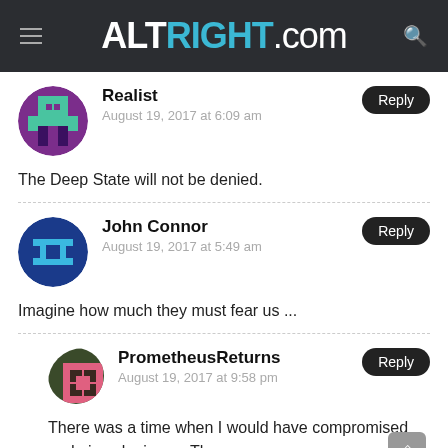ALTRIGHT.COM
Realist
August 19, 2017 at 6:09 am
The Deep State will not be denied.
John Connor
August 19, 2017 at 5:49 am
Imagine how much they must fear us ...
PrometheusReturns
August 19, 2017 at 9:58 pm
There was a time when I would have compromised and given lenience. Those